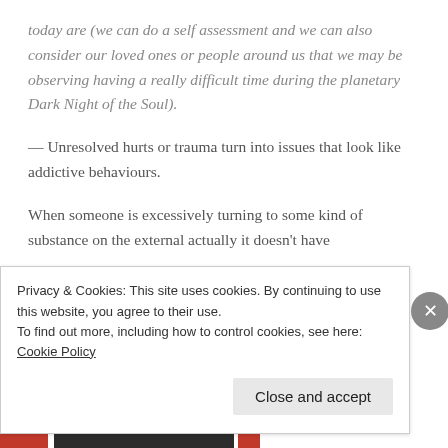today are (we can do a self assessment and we can also consider our loved ones or people around us that we may be observing having a really difficult time during the planetary Dark Night of the Soul).
— Unresolved hurts or trauma turn into issues that look like addictive behaviours.
When someone is excessively turning to some kind of substance on the external actually it doesn't have
Privacy & Cookies: This site uses cookies. By continuing to use this website, you agree to their use.
To find out more, including how to control cookies, see here: Cookie Policy
Close and accept